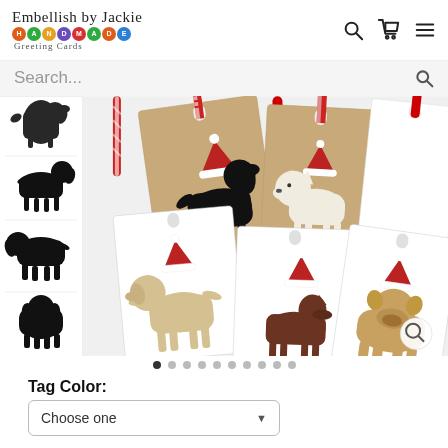Embellish by Jackie HANDMADE Greeting Cards
Search...
[Figure (photo): Product page showing Christmas dog gift tags with Santa hat silhouettes on kraft paper and white tags. Left strip shows various dog breed silhouettes. Main image shows five gift tags with ribbon: black Labrador, white Westie, cream Labrador, brown Doberman, and tan Bulldog, each wearing a Santa hat.]
Tag Color:
Choose one